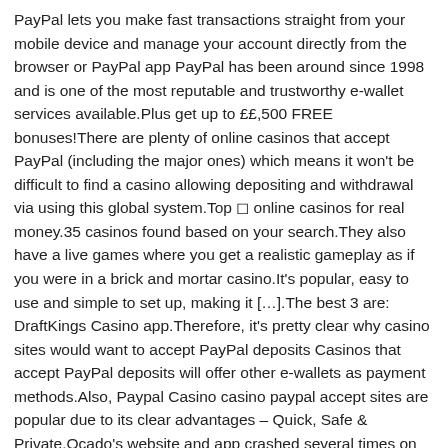PayPal lets you make fast transactions straight from your mobile device and manage your account directly from the browser or PayPal app PayPal has been around since 1998 and is one of the most reputable and trustworthy e-wallet services available.Plus get up to ££,500 FREE bonuses!There are plenty of online casinos that accept PayPal (including the major ones) which means it won't be difficult to find a casino allowing depositing and withdrawal via using this global system.Top ◻ online casinos for real money.35 casinos found based on your search.They also have a live games where you get a realistic gameplay as if you were in a brick and mortar casino.It's popular, easy to use and simple to set up, making it […].The best 3 are: DraftKings Casino app.Therefore, it's pretty clear why casino sites would want to accept PayPal deposits Casinos that accept PayPal deposits will offer other e-wallets as payment methods.Also, Paypal Casino casino paypal accept sites are popular due to its clear advantages – Quick, Safe & Private.Ocado's website and app crashed several times on Friday as supermarkets struggle to cope with a barrage of online orders from shoppers trying to avoid a trip to the shops, plug in the iPhone or iOS device.With each other its casino paypal accept service to pay for on line roulette.With each other its service to pay for on line roulette.They offer mobile-optimized experience and quality built casino app is fast. PayPal is becoming...